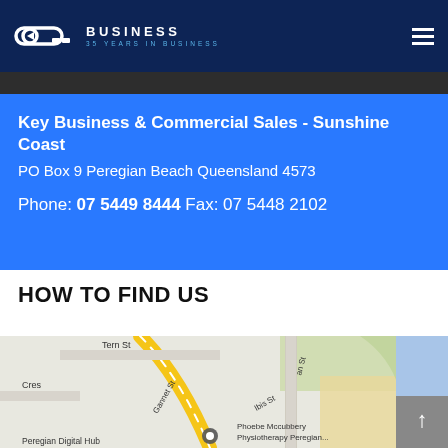[Figure (logo): Key Business logo with key icon, 'BUSINESS' text and '35 YEARS IN BUSINESS' tagline on dark navy background]
Key Business & Commercial Sales - Sunshine Coast
PO Box 9 Peregian Beach Queensland 4573

Phone: 07 5449 8444 Fax: 07 5448 2102
HOW TO FIND US
[Figure (map): Google Maps screenshot showing Peregian Beach area with streets Tern St, Gannet St, Ibis St, Cres, Peregian Digital Hub, Phoebe Mccubbery Physiotherapy Peregian...]